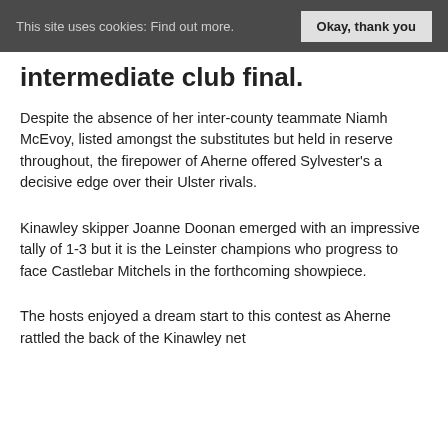This site uses cookies: Find out more. Okay, thank you
intermediate club final.
Despite the absence of her inter-county teammate Niamh McEvoy, listed amongst the substitutes but held in reserve throughout, the firepower of Aherne offered Sylvester's a decisive edge over their Ulster rivals.
Kinawley skipper Joanne Doonan emerged with an impressive tally of 1-3 but it is the Leinster champions who progress to face Castlebar Mitchels in the forthcoming showpiece.
The hosts enjoyed a dream start to this contest as Aherne rattled the back of the Kinawley net